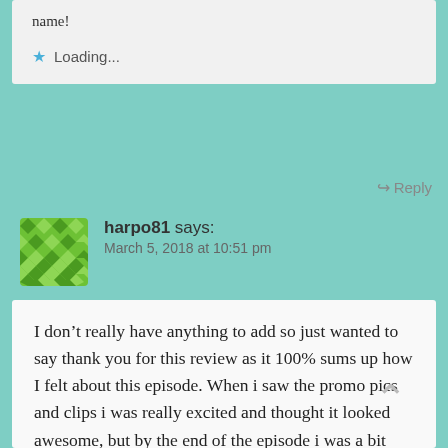name!
Loading...
Reply
harpo81 says: March 5, 2018 at 10:51 pm
I don’t really have anything to add so just wanted to say thank you for this review as it 100% sums up how I felt about this episode. When i saw the promo pics and clips i was really excited and thought it looked awesome, but by the end of the episode i was a bit like “meh” and felt a bit deflated. Your review has expressed my thoughts exactly. I’m